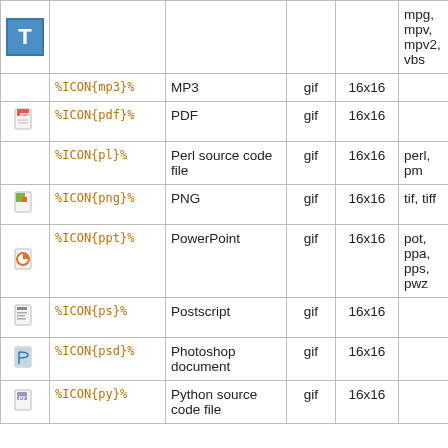| (icon) | (code) | (description) | gif | (size) | (extensions) |
| --- | --- | --- | --- | --- | --- |
| T icon |  |  |  |  | mpg, mpv, mpv2, vbs |
|  | %ICON{mp3}% | MP3 | gif | 16x16 |  |
| pdf icon | %ICON{pdf}% | PDF | gif | 16x16 |  |
|  | %ICON{pl}% | Perl source code file | gif | 16x16 | perl, pm |
| png icon | %ICON{png}% | PNG | gif | 16x16 | tif, tiff |
| ppt icon | %ICON{ppt}% | PowerPoint | gif | 16x16 | pot, ppa, pps, pwz |
| ps icon | %ICON{ps}% | Postscript | gif | 16x16 |  |
| psd icon | %ICON{psd}% | Photoshop document | gif | 16x16 |  |
| py icon | %ICON{py}% | Python source code file | gif | 16x16 |  |